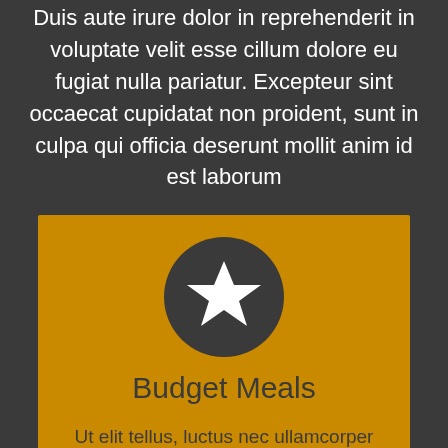Duis aute irure dolor in reprehenderit in voluptate velit esse cillum dolore eu fugiat nulla pariatur. Excepteur sint occaecat cupidatat non proident, sunt in culpa qui officia deserunt mollit anim id est laborum
[Figure (illustration): Dark circle icon containing a white star symbol]
Budget Meals
Ut elit tellus, luctus nec ullamcorper mattis, pulvinar dapibus leo. Ut elit tellus, luctus nec ullamcorper mattis, pulvinar dapibus leo.